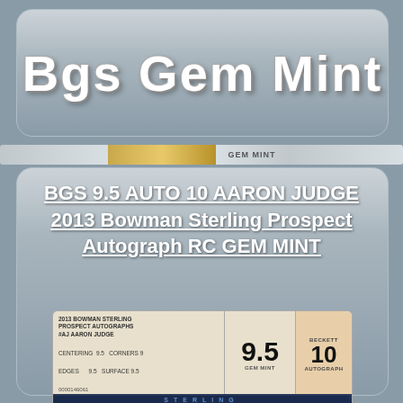Bgs Gem Mint
[Figure (photo): BGS graded slab label showing 9.5 GEM MINT grade and AUTO 10 for 2013 Bowman Sterling Prospect Autograph Aaron Judge RC, with centering 9.5, corners 9, edges 9.5, surface 9.5, barcode 0000146061]
BGS 9.5 AUTO 10 AARON JUDGE 2013 Bowman Sterling Prospect Autograph RC GEM MINT